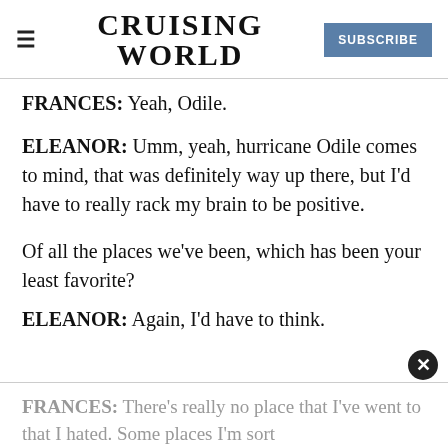CRUISING WORLD | SUBSCRIBE
FRANCES: Yeah, Odile.
ELEANOR: Umm, yeah, hurricane Odile comes to mind, that was definitely way up there, but I'd have to really rack my brain to be positive.
Of all the places we've been, which has been your least favorite?
ELEANOR: Again, I'd have to think.
FRANCES: There's really no place that I've went to that I hated. Some places I'm sort